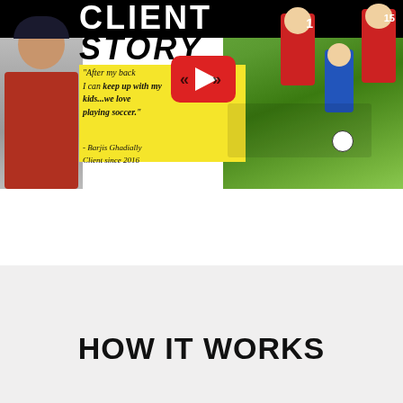[Figure (screenshot): YouTube video thumbnail showing a client story. Left side: man in red shirt (Barjis Ghadially) smiling. Center: yellow background with italic quote text reading 'After my back I can keep up with my kids...we love playing soccer.' attributed to Barjis Ghadially, Client since 2016. Top black bar with 'CLIENT STORY' in large bold text. Red YouTube play button in center. Right side: children playing soccer on green grass field wearing red and blue jerseys.]
HOW IT WORKS